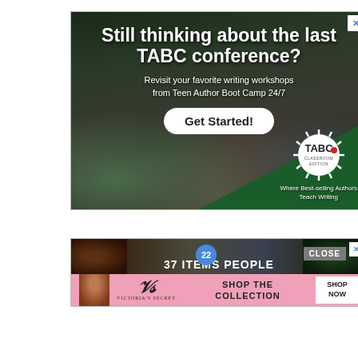[Figure (photo): Advertisement for TABC (Teen Author Boot Camp) Classroom Edition showing students in a conference hall, with text overlay 'Still thinking about the last TABC conference?' and subtext 'Revisit your favorite writing workshops from Teen Author Boot Camp 24/7' with a 'Get Started!' button and the TABC logo with tagline 'Where Best-selling Authors Teach Writing'. A close X button is in the top right corner.]
[Figure (photo): Two stacked advertisement banners. Top banner shows a dark background with '22' blue circle badge and bold white text '37 ITEMS PEOPLE', 'CLOSE' button in gray, and an X close button. Bottom banner is pink with Victoria's Secret logo, text 'SHOP THE COLLECTION', and a white 'SHOP NOW' button.]